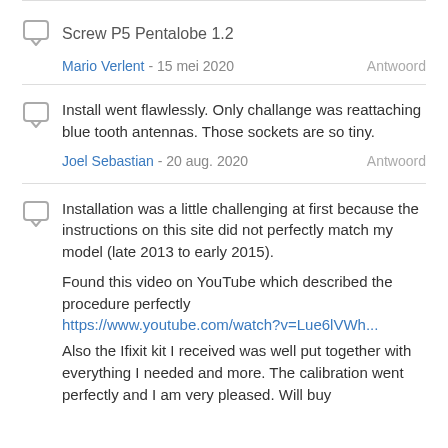Screw P5 Pentalobe 1.2
Mario Verlent - 15 mei 2020   Antwoord
Install went flawlessly. Only challange was reattaching blue tooth antennas. Those sockets are so tiny.
Joel Sebastian - 20 aug. 2020   Antwoord
Installation was a little challenging at first because the instructions on this site did not perfectly match my model (late 2013 to early 2015).

Found this video on YouTube which described the procedure perfectly
https://www.youtube.com/watch?v=Lue6lVWh...

Also the Ifixit kit I received was well put together with everything I needed and more. The calibration went perfectly and I am very pleased. Will buy again.